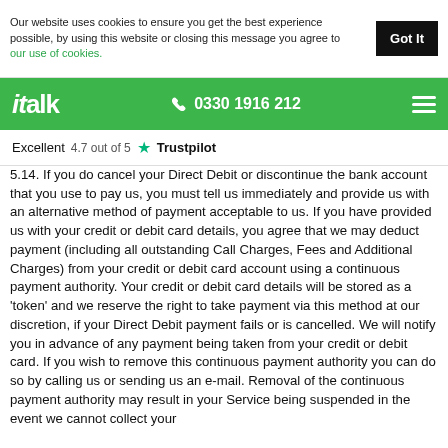Our website uses cookies to ensure you get the best experience possible, by using this website or closing this message you agree to our use of cookies.
italk  0330 1916 212
Excellent 4.7 out of 5 ★ Trustpilot
5.14. If you do cancel your Direct Debit or discontinue the bank account that you use to pay us, you must tell us immediately and provide us with an alternative method of payment acceptable to us. If you have provided us with your credit or debit card details, you agree that we may deduct payment (including all outstanding Call Charges, Fees and Additional Charges) from your credit or debit card account using a continuous payment authority. Your credit or debit card details will be stored as a 'token' and we reserve the right to take payment via this method at our discretion, if your Direct Debit payment fails or is cancelled. We will notify you in advance of any payment being taken from your credit or debit card. If you wish to remove this continuous payment authority you can do so by calling us or sending us an e-mail. Removal of the continuous payment authority may result in your Service being suspended in the event we cannot collect your